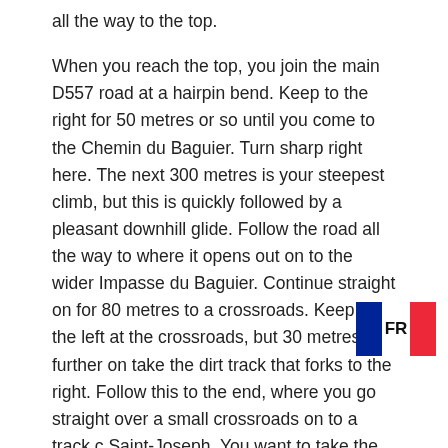all the way to the top.

When you reach the top, you join the main D557 road at a hairpin bend. Keep to the right for 50 metres or so until you come to the Chemin du Baguier. Turn sharp right here. The next 300 metres is your steepest climb, but this is quickly followed by a pleasant downhill glide. Follow the road all the way to where it opens out on to the wider Impasse du Baguier. Continue straight on for 80 metres to a crossroads. Keep to the left at the crossroads, but 30 metres further on take the dirt track that forks to the right. Follow this to the end, where you go straight over a small crossroads on to a track c Saint-Joseph. You want to take the track that ben between the Protection Voisins Vigilants sign and the high wall in front of you. As you come to some large trees the track turns right. But there is also a footpath straight ahead. Take this. You will probably need to push your
[Figure (illustration): French flag (tricolour: blue, white, red) with 'FR' text label overlaid]